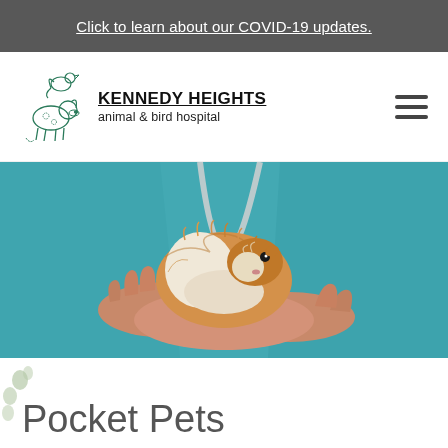Click to learn about our COVID-19 updates.
[Figure (logo): Kennedy Heights Animal & Bird Hospital logo with illustrated bird and dog sketch, and bold text reading KENNEDY HEIGHTS animal & bird hospital]
[Figure (photo): A veterinarian in teal scrubs holding a small guinea pig in cupped hands, with a stethoscope visible in the background]
Pocket Pets